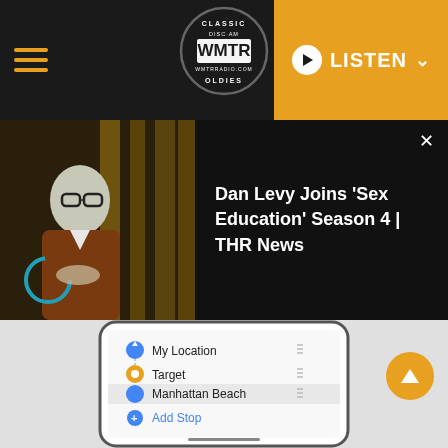[Figure (screenshot): WMTR Classic Oldies radio station website header with hamburger menu, logo, and Listen button]
[Figure (screenshot): Video thumbnail showing Dan Levy with overlay text: Dan Levy Joins 'Sex Education' Season 4 | THR News]
[Figure (screenshot): iPhone screenshot showing Google Maps multi-stop route: My Location, Target, Manhattan Beach, with Add Stop, Drive/Now/Avoid buttons, 32 min, 9.7 mi · 1 stop, and GO button]